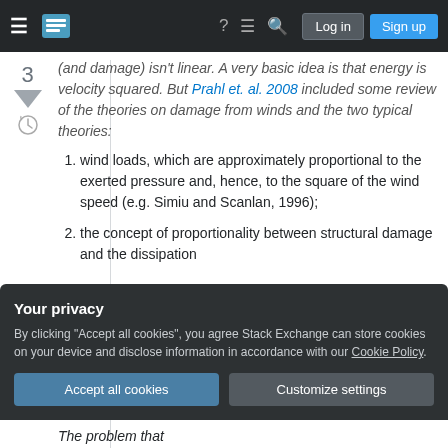Stack Exchange navigation bar with hamburger menu, logo, help, chat, search, Log in, and Sign up buttons
(and damage) isn't linear. A very basic idea is that energy is velocity squared. But Prahl et. al. 2008 included some review of the theories on damage from winds and the two typical theories:
wind loads, which are approximately proportional to the exerted pressure and, hence, to the square of the wind speed (e.g. Simiu and Scanlan, 1996);
the concept of proportionality between structural damage and the dissipation
Your privacy
By clicking "Accept all cookies", you agree Stack Exchange can store cookies on your device and disclose information in accordance with our Cookie Policy.
The problem that